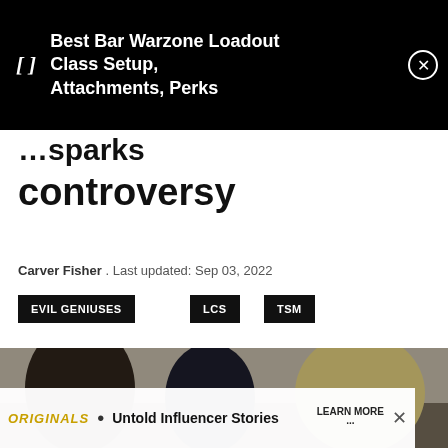[Figure (screenshot): Ad banner: bracket icon and text 'Best Bar Warzone Loadout Class Setup, Attachments, Perks' with close button on black background]
controversy
Carver Fisher . Last updated: Sep 03, 2022
EVIL GENIUSES
LCS
TSM
[Figure (photo): Three people sitting on a couch, esports players, looking tired or disappointed]
[Figure (screenshot): Ad overlay: Originals logo, 'Untold Influencer Stories', LEARN MORE button, close X]